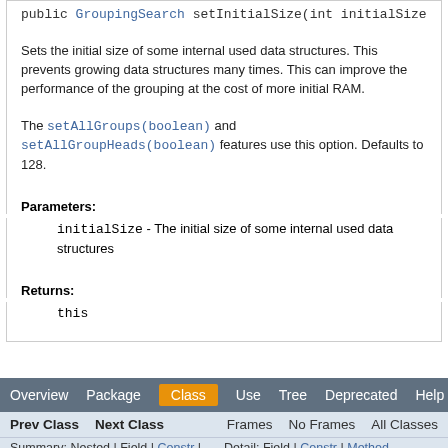public GroupingSearch setInitialSize(int initialSize)
Sets the initial size of some internal used data structures. This prevents growing data structures many times. This can improve the performance of the grouping at the cost of more initial RAM.
The setAllGroups(boolean) and setAllGroupHeads(boolean) features use this option. Defaults to 128.
Parameters:
initialSize - The initial size of some internal used data structures
Returns:
this
Overview   Package   Class   Use   Tree   Deprecated   Help
Prev Class   Next Class   Frames   No Frames   All Classes
Summary: Nested | Field | Constr | Method   Detail: Field | Constr | Method
Copyright © 2000-2015 Apache Software Foundation. All Rights Reserved.